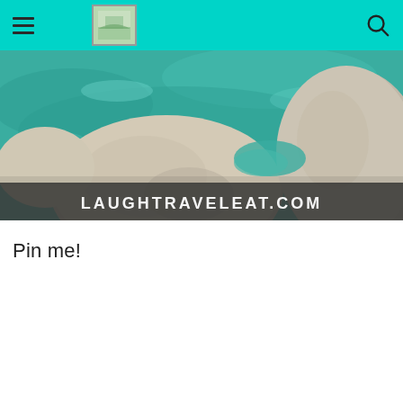laughtraveleat.com navigation bar with hamburger menu, logo, and search icon
[Figure (photo): Aerial or close-up photo of large granite boulders beside turquoise-green water, with a dark semi-transparent banner at the bottom reading LAUGHTRAVELEAT.COM in white text]
Pin me!